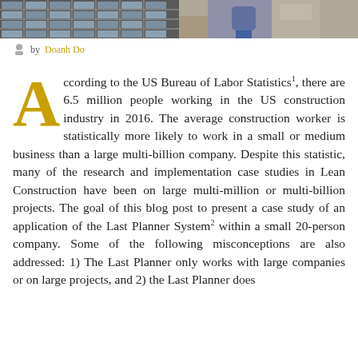[Figure (photo): Two-panel header image: left panel shows a building facade with grid windows, right panel shows a construction worker in blue jeans]
by Doanh Do
According to the US Bureau of Labor Statistics1, there are 6.5 million people working in the US construction industry in 2016. The average construction worker is statistically more likely to work in a small or medium business than a large multi-billion company. Despite this statistic, many of the research and implementation case studies in Lean Construction have been on large multi-million or multi-billion projects. The goal of this blog post to present a case study of an application of the Last Planner System2 within a small 20-person company. Some of the following misconceptions are also addressed: 1) The Last Planner only works with large companies or on large projects, and 2) the Last Planner does